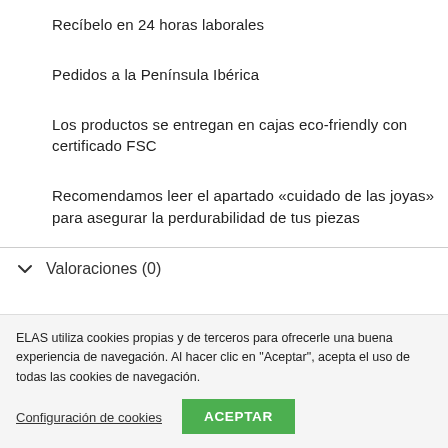Recíbelo en 24 horas laborales
Pedidos a la Península Ibérica
Los productos se entregan en cajas eco-friendly con certificado FSC
Recomendamos leer el apartado «cuidado de las joyas» para asegurar la perdurabilidad de tus piezas
Valoraciones (0)
ELAS utiliza cookies propias y de terceros para ofrecerle una buena experiencia de navegación. Al hacer clic en "Aceptar", acepta el uso de todas las cookies de navegación.
Configuración de cookies
ACEPTAR